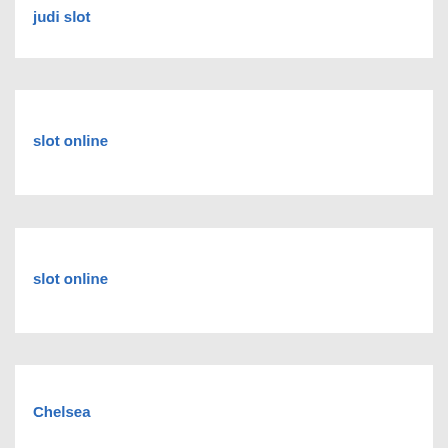judi slot
slot online
slot online
Chelsea
slot online